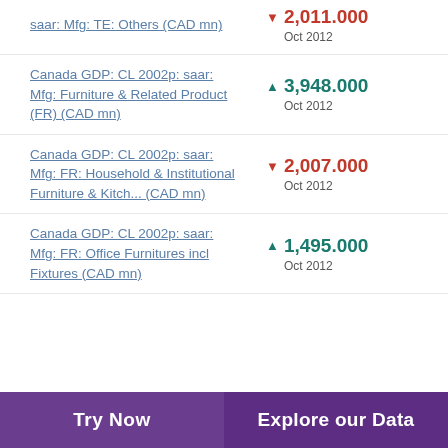saar: Mfg: TE: Others (CAD mn)
Canada GDP: CL 2002p: saar: Mfg: Furniture & Related Product (FR) (CAD mn)
Canada GDP: CL 2002p: saar: Mfg: FR: Household & Institutional Furniture & Kitch... (CAD mn)
Canada GDP: CL 2002p: saar: Mfg: FR: Office Furnitures incl Fixtures (CAD mn)
Try Now | Explore our Data